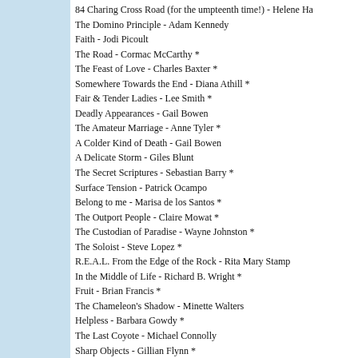84 Charing Cross Road (for the umpteenth time!) - Helene Ha
The Domino Principle - Adam Kennedy
Faith - Jodi Picoult
The Road - Cormac McCarthy *
The Feast of Love - Charles Baxter *
Somewhere Towards the End - Diana Athill *
Fair & Tender Ladies - Lee Smith *
Deadly Appearances - Gail Bowen
The Amateur Marriage - Anne Tyler *
A Colder Kind of Death - Gail Bowen
A Delicate Storm - Giles Blunt
The Secret Scriptures - Sebastian Barry *
Surface Tension - Patrick Ocampo
Belong to me - Marisa de los Santos *
The Outport People - Claire Mowat *
The Custodian of Paradise - Wayne Johnston *
The Soloist - Steve Lopez *
R.E.A.L. From the Edge of the Rock - Rita Mary Stamp
In the Middle of Life - Richard B. Wright *
Fruit - Brian Francis *
The Chameleon's Shadow - Minette Walters
Helpless - Barbara Gowdy *
The Last Coyote - Michael Connolly
Sharp Objects - Gillian Flynn *